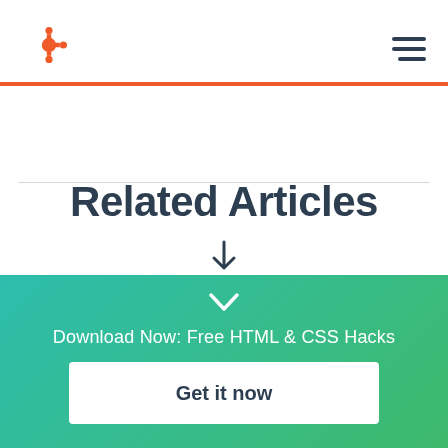HubSpot logo and navigation menu
Related Articles
↓
❯
Download Now: Free HTML & CSS Hacks
Get it now